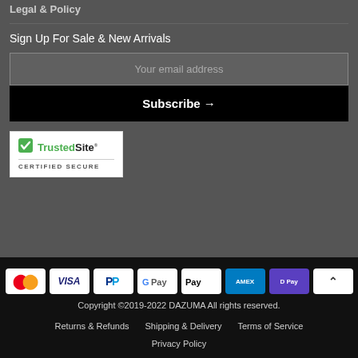Legal & Policy
Sign Up For Sale & New Arrivals
Your email address
Subscribe →
[Figure (logo): TrustedSite Certified Secure badge — white rectangle with green checkmark, bold text 'TrustedSite®' and 'CERTIFIED SECURE' below]
[Figure (infographic): Payment method icons: Mastercard, Visa, PayPal, Google Pay, Apple Pay, Amex, D Pay, and a scroll-to-top button]
Copyright ©2019-2022 DAZUMA All rights reserved.
Returns & Refunds
Shipping & Delivery
Terms of Service
Privacy Policy